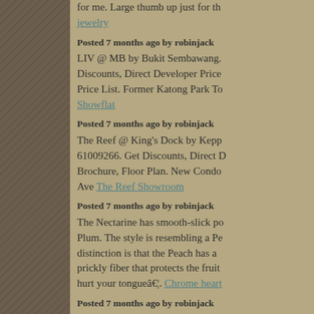for me. Large thumb up just for th jewelry
Posted 7 months ago by robinjack
LIV @ MB by Bukit Sembawang. Discounts, Direct Developer Price Price List. Former Katong Park To Showflat
Posted 7 months ago by robinjack
The Reef @ King's Dock by Kepp 61009266. Get Discounts, Direct Brochure, Floor Plan. New Condo Ave The Reef Showroom
Posted 7 months ago by robinjack
The Nectarine has smooth-slick po Plum. The style is resembling a Pe distinction is that the Peach has a prickly fiber that protects the fruit hurt your tongueâ€¦. Chrome heart
Posted 7 months ago by robinjack
I needed to put you that very little